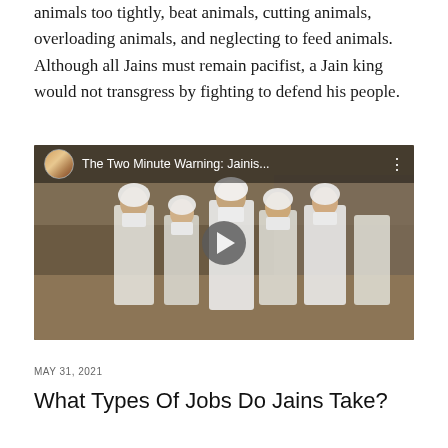animals too tightly, beat animals, cutting animals, overloading animals, and neglecting to feed animals. Although all Jains must remain pacifist, a Jain king would not transgress by fighting to defend his people.
[Figure (screenshot): Embedded video player showing 'The Two Minute Warning: Jainis...' with thumbnail of Jain nuns in white robes with mouth covers walking outdoors]
MAY 31, 2021
What Types Of Jobs Do Jains Take?